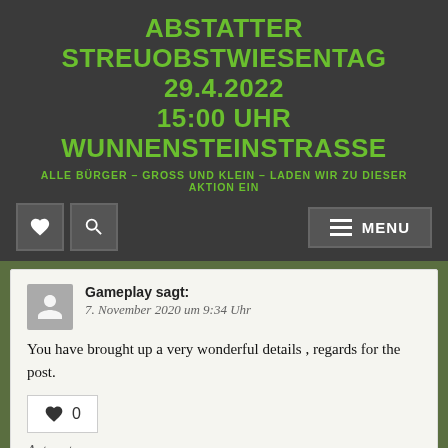ABSTATTER STREUOBSTWIESENTAG 29.4.2022 15:00 UHR WUNNENSTEINSTRASSE
ALLE BÜRGER – GROSS UND KLEIN – LADEN WIR ZU DIESER AKTION EIN
Navigation bar with heart icon, search icon, and MENU button
Gameplay sagt:
7. November 2020 um 9:34 Uhr
You have brought up a very wonderful details , regards for the post.
♥ 0
Antworten
roof repairs johannesburg sagt:
8. November 2020 um 10:52 Uhr